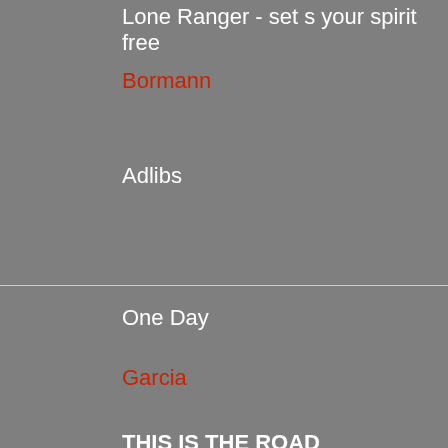Lone Ranger - set s your spirit free
Bormann
Adlibs
One Day
Garcia
THIS IS THE ROAD
THE ROAD TO NOWHERE
THIS IS MY FEAR
TO WASTE MY LIFE
ALL FALLIN TO PIECES